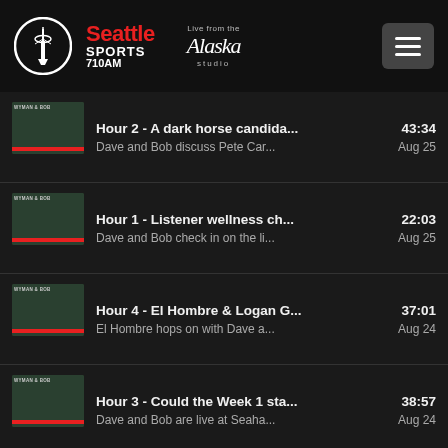[Figure (screenshot): Seattle Sports 710AM radio station website header with logo, Alaska Airlines studio branding, and hamburger menu button]
Hour 2 - A dark horse candida... 43:34 | Dave and Bob discuss Pete Car... Aug 25
Hour 1 - Listener wellness ch... 22:03 | Dave and Bob check in on the li... Aug 25
Hour 4 - El Hombre & Logan G... 37:01 | El Hombre hops on with Dave a... Aug 24
Hour 3 - Could the Week 1 sta... 38:57 | Dave and Bob are live at Seaha... Aug 24
Cookie Notice
We use cookies on this website to offer a superior user experience, analyze site traffic, and personalize content and advertisements. By continuing to use our site, you consent to our use of cookies. Please visit our Privacy Policy for more...